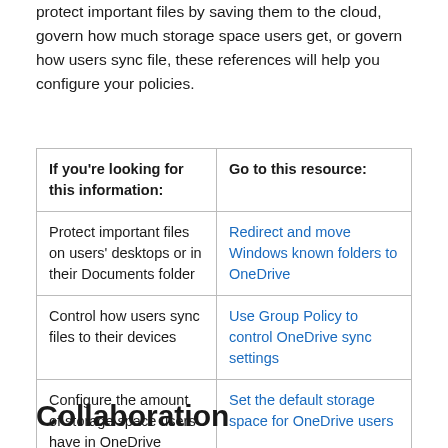protect important files by saving them to the cloud, govern how much storage space users get, or govern how users sync file, these references will help you configure your policies.
| If you're looking for this information: | Go to this resource: |
| --- | --- |
| Protect important files on users' desktops or in their Documents folder | Redirect and move Windows known folders to OneDrive |
| Control how users sync files to their devices | Use Group Policy to control OneDrive sync settings |
| Configure the amount of storage space users have in OneDrive | Set the default storage space for OneDrive users |
Collaboration